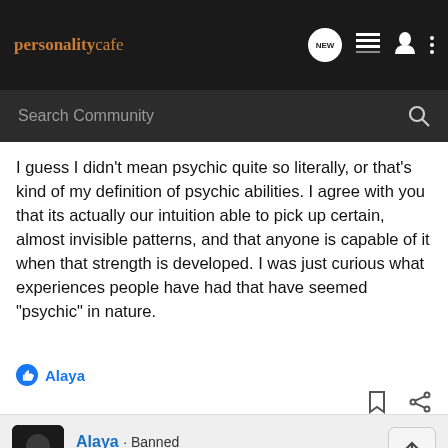personalitycafe — header navigation with NEW, list, user, and more icons
Search Community
I guess I didn't mean psychic quite so literally, or that's kind of my definition of psychic abilities. I agree with you that its actually our intuition able to pick up certain, almost invisible patterns, and that anyone is capable of it when that strength is developed. I was just curious what experiences people have had that have seemed "psychic" in nature.
Alaya
Alaya · Banned
Joined Nov 10, 2009 · 3,725 Posts
#6 · Aug 5, 2010